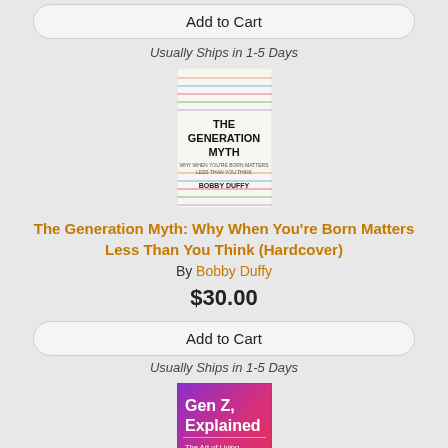Add to Cart
Usually Ships in 1-5 Days
[Figure (photo): Book cover of 'The Generation Myth: Why When You're Born Matters Less Than You Think' by Bobby Duffy. White background with colorful text lines and bold black title text.]
The Generation Myth: Why When You're Born Matters Less Than You Think (Hardcover)
By Bobby Duffy
$30.00
Add to Cart
Usually Ships in 1-5 Days
[Figure (photo): Book cover of 'Gen Z, Explained: The Art of Living in a Digital Age' by Roberta Katz and Sarah Ogilvie. Pink/magenta gradient background with white text.]